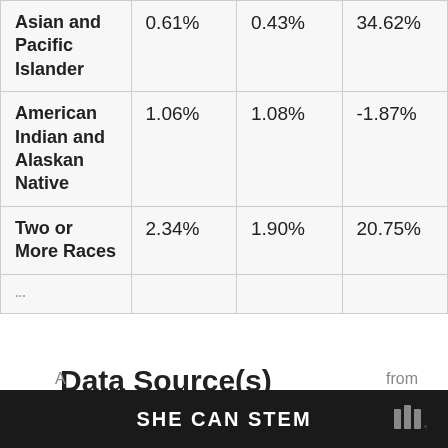| Asian and Pacific Islander | 0.61% | 0.43% | 34.62% |
| American Indian and Alaskan Native | 1.06% | 1.08% | -1.87% |
| Two or More Races | 2.34% | 1.90% | 20.75% |
| ... |  |  |  |
Data Source(s)
SHE CAN STEM